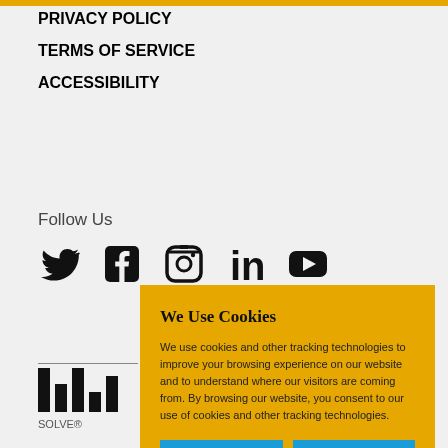PRIVACY POLICY
TERMS OF SERVICE
ACCESSIBILITY
Follow Us
[Figure (illustration): Social media icons: Twitter, Facebook, Instagram, LinkedIn, YouTube]
[Figure (logo): MIT logo with vertical bars]
SOLVE®
We Use Cookies
We use cookies and other tracking technologies to improve your browsing experience on our website and to understand where our visitors are coming from. By browsing our website, you consent to our use of cookies and other tracking technologies.
ACCEPT   REJECT